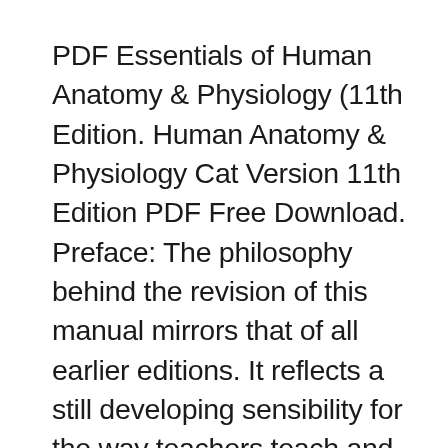PDF Essentials of Human Anatomy & Physiology (11th Edition. Human Anatomy & Physiology Cat Version 11th Edition PDF Free Download. Preface: The philosophy behind the revision of this manual mirrors that of all earlier editions. It reflects a still developing sensibility for the way teachers teach and students learn, engendered by years of teaching the subject and by listening to the suggestions of other instructors as well as those of students enrolled, Revered for its thorough, clearly written exercises and explanations, Human Anatomy & Physiology Laboratory Manual has provided millions of future healthcare